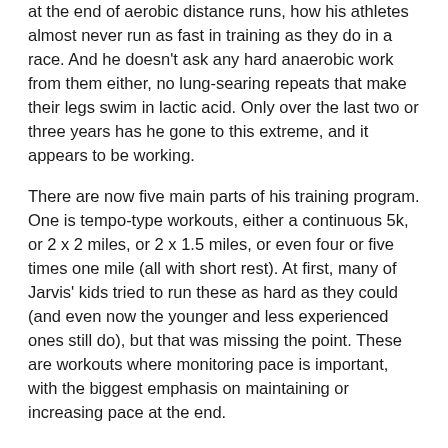at the end of aerobic distance runs, how his athletes almost never run as fast in training as they do in a race. And he doesn't ask any hard anaerobic work from them either, no lung-searing repeats that make their legs swim in lactic acid. Only over the last two or three years has he gone to this extreme, and it appears to be working.
There are now five main parts of his training program. One is tempo-type workouts, either a continuous 5k, or 2 x 2 miles, or 2 x 1.5 miles, or even four or five times one mile (all with short rest). At first, many of Jarvis' kids tried to run these as hard as they could (and even now the younger and less experienced ones still do), but that was missing the point. These are workouts where monitoring pace is important, with the biggest emphasis on maintaining or increasing pace at the end.
Another key workout in the training program is "one minute on, one minute off", done in loops around city park athletic fields. The "on" portions are done faster than tempo effort but